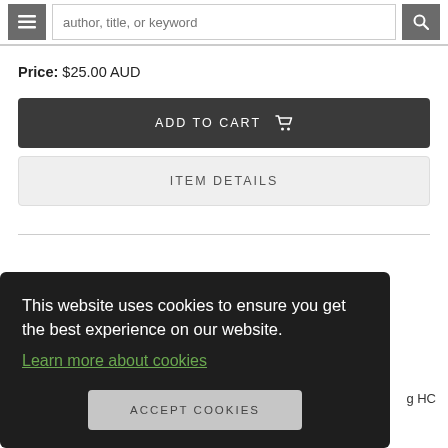author, title, or keyword
Price: $25.00 AUD
ADD TO CART
ITEM DETAILS
This website uses cookies to ensure you get the best experience on our website. Learn more about cookies
ACCEPT COOKIES